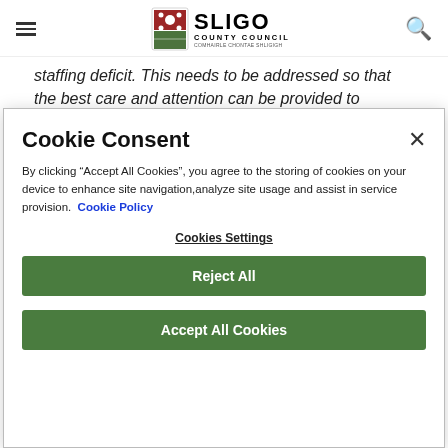Sligo County Council
staffing deficit. This needs to be addressed so that the best care and attention can be provided to patients by front-line staff"
22. To consider the following motion as
Cookie Consent
By clicking “Accept All Cookies”, you agree to the storing of cookies on your device to enhance site navigation,analyze site usage and assist in service provision. Cookie Policy
Cookies Settings
Reject All
Accept All Cookies